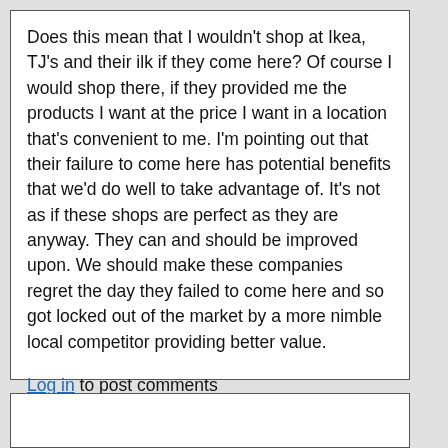Does this mean that I wouldn't shop at Ikea, TJ's and their ilk if they come here? Of course I would shop there, if they provided me the products I want at the price I want in a location that's convenient to me. I'm pointing out that their failure to come here has potential benefits that we'd do well to take advantage of. It's not as if these shops are perfect as they are anyway. They can and should be improved upon. We should make these companies regret the day they failed to come here and so got locked out of the market by a more nimble local competitor providing better value.
Log in to post comments